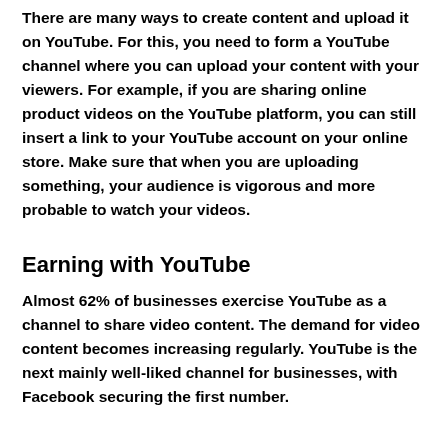There are many ways to create content and upload it on YouTube. For this, you need to form a YouTube channel where you can upload your content with your viewers. For example, if you are sharing online product videos on the YouTube platform, you can still insert a link to your YouTube account on your online store. Make sure that when you are uploading something, your audience is vigorous and more probable to watch your videos.
Earning with YouTube
Almost 62% of businesses exercise YouTube as a channel to share video content. The demand for video content becomes increasing regularly. YouTube is the next mainly well-liked channel for businesses, with Facebook securing the first number.